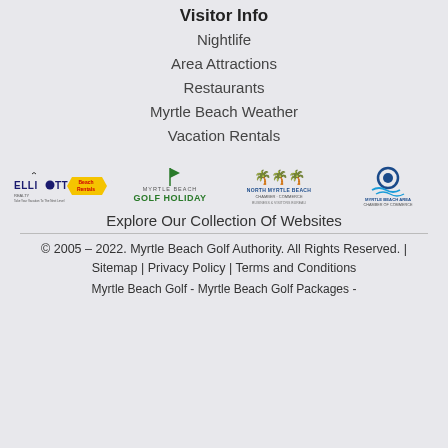Visitor Info
Nightlife
Area Attractions
Restaurants
Myrtle Beach Weather
Vacation Rentals
[Figure (logo): Row of partner logos: Elliott Beach Rentals, Myrtle Beach Golf Holiday, North Myrtle Beach Chamber, Myrtle Beach Area Chamber of Commerce]
Explore Our Collection Of Websites
© 2005 – 2022. Myrtle Beach Golf Authority. All Rights Reserved. | Sitemap | Privacy Policy | Terms and Conditions
Myrtle Beach Golf - Myrtle Beach Golf Packages -